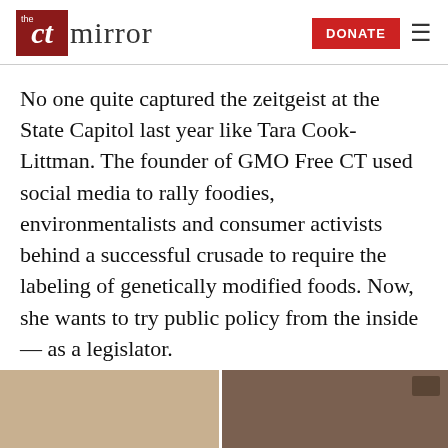the ct mirror | DONATE
No one quite captured the zeitgeist at the State Capitol last year like Tara Cook-Littman. The founder of GMO Free CT used social media to rally foodies, environmentalists and consumer activists behind a successful crusade to require the labeling of genetically modified foods. Now, she wants to try public policy from the inside — as a legislator.
[Figure (photo): Bottom portion of a photo showing an indoor scene, split into two panels side by side]